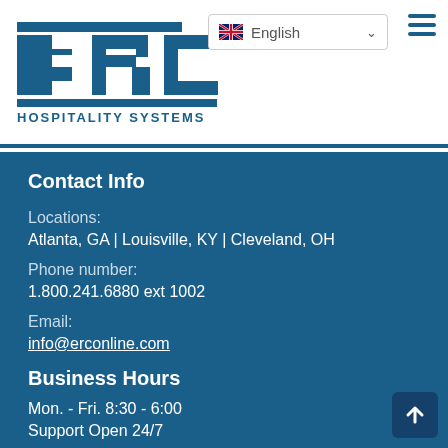[Figure (logo): ERC Hospitality Systems logo — bold blue letters ERC with horizontal bars above and below, text HOSPITALITY SYSTEMS below]
[Figure (screenshot): Language selector dropdown showing UK flag and 'English' text with chevron, and hamburger menu icon to the right]
Contact Info
Locations:
Atlanta, GA | Louisville, KY | Cleveland, OH
Phone number:
1.800.241.6880 ext 1002
Email:
info@erconline.com
Business Hours
Mon. - Fri. 8:30 - 6:00
Support Open 24/7